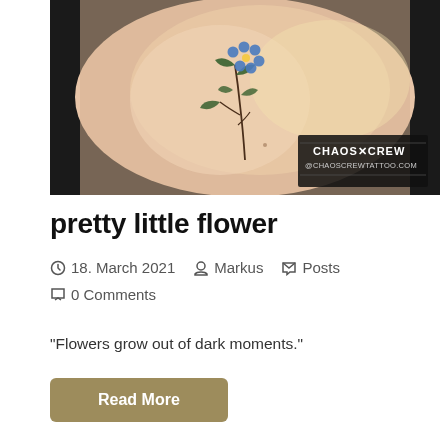[Figure (photo): Close-up photo of a forearm tattoo showing a small delicate flower with blue petals and green leaves on a stem, on skin background. A watermark logo reads 'CHAOS CREW' with website chaoscrewtattoo.com in the lower right corner.]
pretty little flower
18. March 2021   Markus   Posts   0 Comments
"Flowers grow out of dark moments."
Read More